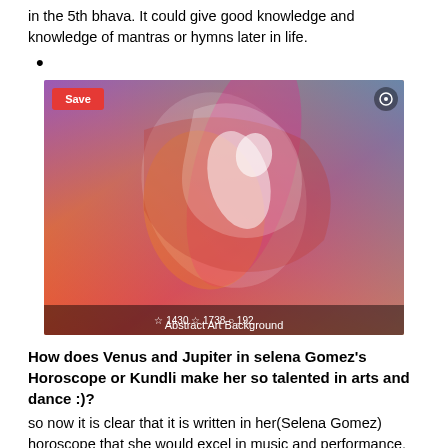in the 5th bhava. It could give good knowledge and knowledge of mantras or hymns later in life.
•
[Figure (photo): Abstract Art Background - a colorful abstract painting with a bird/horse figure, showing social media save/interaction UI overlay with counts 1430, 1738, 192]
How does Venus and Jupiter in selena Gomez's Horoscope or Kundli make her so talented in arts and dance :)?
so now it is clear that it is written in her(Selena Gomez) horoscope that she would excel in music and performance.
also, the energies around the planet Venus(Shukra) show the energies of the planet Jupiter/Guru which blesses with growth and expansion in the art.
Venus is number 6 and Jupiter number 3, 6=3×2.
As a discussed planet, Jupiter or guru is in the fifth bhava for her.
that gives her exceptional creative talent to sing or speak and also acquire good knowledge. as shared it stands for expansion in luck plus makes the person a winner with the sun around.
•